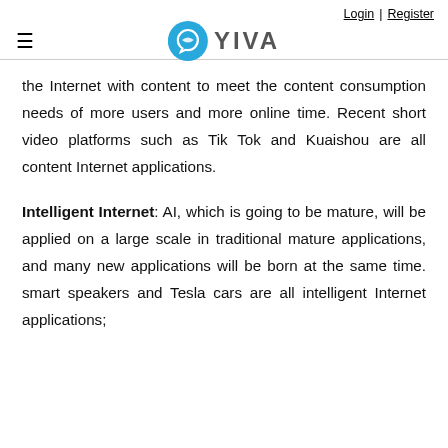Login | Register
[Figure (logo): YIVA logo with blue circular icon and text 'YIVA']
the Internet with content to meet the content consumption needs of more users and more online time. Recent short video platforms such as Tik Tok and Kuaishou are all content Internet applications.
Intelligent Internet: AI, which is going to be mature, will be applied on a large scale in traditional mature applications, and many new applications will be born at the same time. smart speakers and Tesla cars are all intelligent Internet applications;